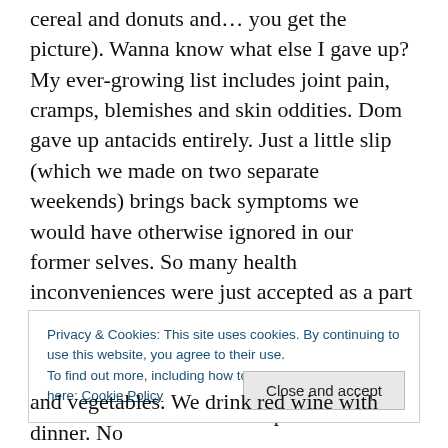cereal and donuts and… you get the picture). Wanna know what else I gave up? My ever-growing list includes joint pain, cramps, blemishes and skin oddities. Dom gave up antacids entirely. Just a little slip (which we made on two separate weekends) brings back symptoms we would have otherwise ignored in our former selves. So many health inconveniences were just accepted as a part of life and aging. But the elimination of wheat (and likely sugar too) has proven that life and aging can be so much better than we had been trained to accept!
Privacy & Cookies: This site uses cookies. By continuing to use this website, you agree to their use. To find out more, including how to control cookies, see here: Cookie Policy
and vegetables. We drink red wine with dinner. No